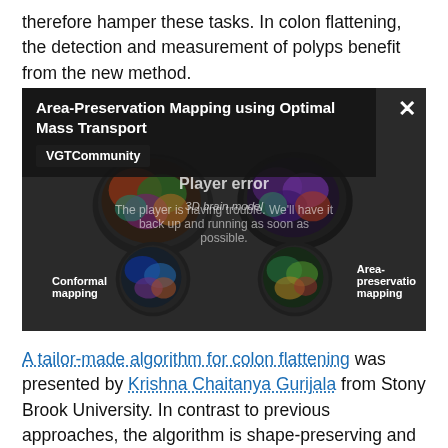therefore hamper these tasks. In colon flattening, the detection and measurement of polyps benefit from the new method.
[Figure (screenshot): Video player screenshot showing 'Area-Preservation Mapping using Optimal Mass Transport' from VGTCommunity channel, with a player error overlay displaying a 3D brain model with conformal mapping and area-preservation mapping comparisons. A close (X) button is visible top-right.]
A tailor-made algorithm for colon flattening was presented by Krishna Chaitanya Gurijala from Stony Brook University. In contrast to previous approaches, the algorithm is shape-preserving and robust to topological noise. It dispenses denoising the data as a